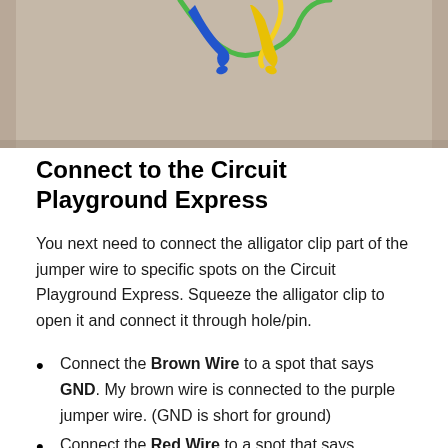[Figure (photo): Photograph showing alligator clip jumper wires (blue, yellow, green) connected together, viewed from above on a beige surface]
Connect to the Circuit Playground Express
You next need to connect the alligator clip part of the jumper wire to specific spots on the Circuit Playground Express. Squeeze the alligator clip to open it and connect it through hole/pin.
Connect the Brown Wire to a spot that says GND. My brown wire is connected to the purple jumper wire. (GND is short for ground)
Connect the Red Wire to a spot that says